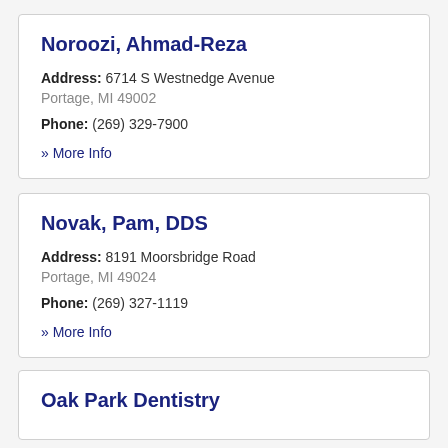Noroozi, Ahmad-Reza
Address: 6714 S Westnedge Avenue
Portage, MI 49002
Phone: (269) 329-7900
» More Info
Novak, Pam, DDS
Address: 8191 Moorsbridge Road
Portage, MI 49024
Phone: (269) 327-1119
» More Info
Oak Park Dentistry